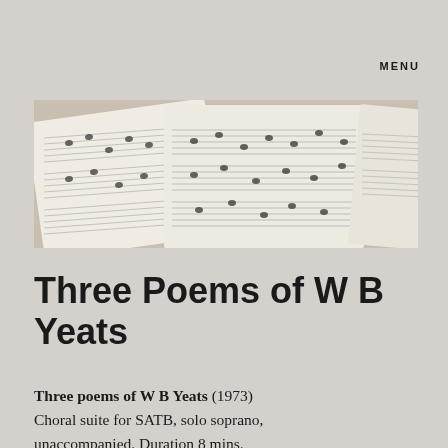MENU
[Figure (photo): Close-up photograph of open sheet music / musical score pages fanned out, showing handwritten or printed musical notation on white pages against a neutral background.]
Three Poems of W B Yeats
Three poems of W B Yeats (1973) Choral suite for SATB, solo soprano, unaccompanied. Duration 8 mins. One of the earliest of Bullard's works to enter